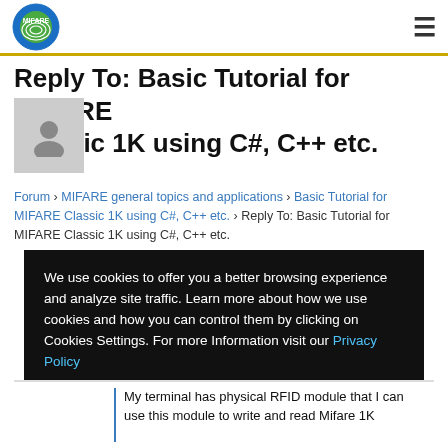MIFARE [logo] [hamburger menu]
Reply To: Basic Tutorial for MIFARE Classic 1K using C#, C++ etc.
Forum › MIFARE general topics and applications › Basic Tutorial for MIFARE Classic 1K using C#, C++ etc. › Reply To: Basic Tutorial for MIFARE Classic 1K using C#, C++ etc.
We use cookies to offer you a better browsing experience and analyze site traffic. Learn more about how we use cookies and how you can control them by clicking on Cookies Settings. For more Information visit our Privacy Policy
My terminal has physical RFID module that I can use this module to write and read Mifare 1K